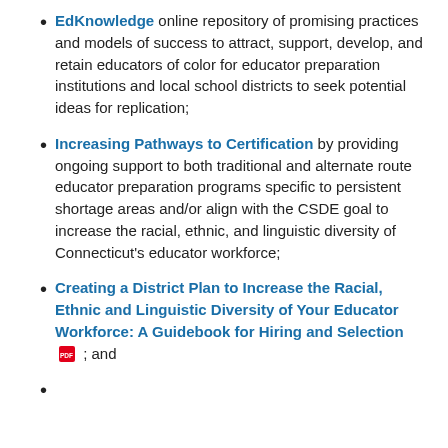EdKnowledge online repository of promising practices and models of success to attract, support, develop, and retain educators of color for educator preparation institutions and local school districts to seek potential ideas for replication;
Increasing Pathways to Certification by providing ongoing support to both traditional and alternate route educator preparation programs specific to persistent shortage areas and/or align with the CSDE goal to increase the racial, ethnic, and linguistic diversity of Connecticut's educator workforce;
Creating a District Plan to Increase the Racial, Ethnic and Linguistic Diversity of Your Educator Workforce: A Guidebook for Hiring and Selection [PDF icon] ; and
(partial, cut off at bottom)